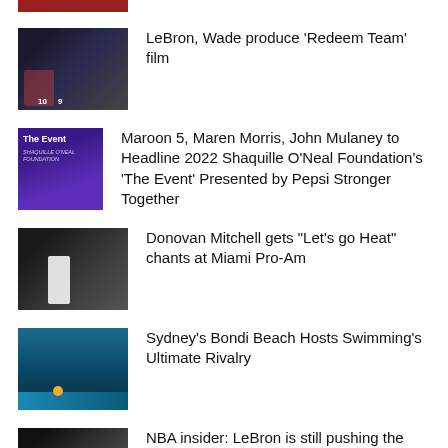[Figure (photo): Partial image of basketball players at top of page (cropped)]
[Figure (photo): Basketball players raising hands in a huddle, jersey number 10 visible]
LeBron, Wade produce ‘Redeem Team’ film
[Figure (photo): Purple poster for 'The Event' - Shaquille O'Neal Foundation event]
Maroon 5, Maren Morris, John Mulaney to Headline 2022 Shaquille O’Neal Foundation’s ‘The Event’ Presented by Pepsi Stronger Together
[Figure (photo): Donovan Mitchell in white jersey standing on basketball court]
Donovan Mitchell gets “Let’s go Heat” chants at Miami Pro-Am
[Figure (photo): Aerial view of Bondi Beach at sunset]
Sydney’s Bondi Beach Hosts Swimming’s Ultimate Rivalry
[Figure (photo): Basketball game photo, partial view at bottom]
NBA insider: LeBron is still pushing the Lakers